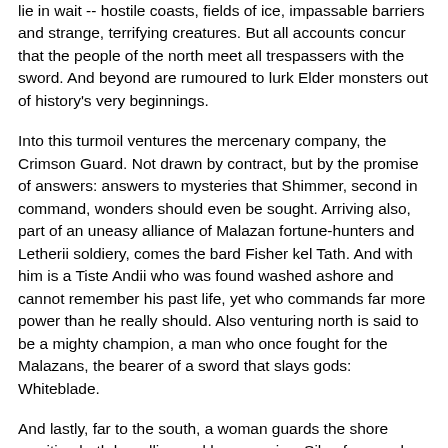lie in wait -- hostile coasts, fields of ice, impassable barriers and strange, terrifying creatures. But all accounts concur that the people of the north meet all trespassers with the sword. And beyond are rumoured to lurk Elder monsters out of history's very beginnings.
Into this turmoil ventures the mercenary company, the Crimson Guard. Not drawn by contract, but by the promise of answers: answers to mysteries that Shimmer, second in command, wonders should even be sought. Arriving also, part of an uneasy alliance of Malazan fortune-hunters and Letherii soldiery, comes the bard Fisher kel Tath. And with him is a Tiste Andii who was found washed ashore and cannot remember his past life, yet who commands far more power than he really should. Also venturing north is said to be a mighty champion, a man who once fought for the Malazans, the bearer of a sword that slays gods: Whiteblade.
And lastly, far to the south, a woman guards the shore awaiting both her allies and her enemies. Silverfox, newly incarnated Summoner of the undying army of the T'lan Imass, will do anything to stop the renewal of an ages-old